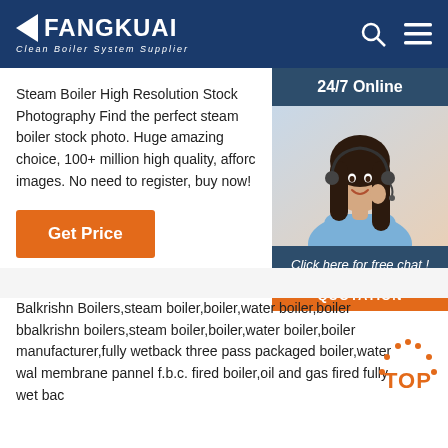FANGKUAI Clean Boiler System Supplier
Steam Boiler High Resolution Stock Photography Find the perfect steam boiler stock photo. Huge amazing choice, 100+ million high quality, afforc images. No need to register, buy now!
Get Price
[Figure (photo): Customer service woman with headset, 24/7 Online support widget with 'Click here for free chat!' and QUOTATION button]
Balkrishn Boilers,steam boiler,boiler,water boiler,boiler bbalkrishn boilers,steam boiler,boiler,water boiler,boiler manufacturer,fully wetback three pass packaged boiler,water wall membrane pannel f.b.c. fired boiler,oil and gas fired fully wet bac